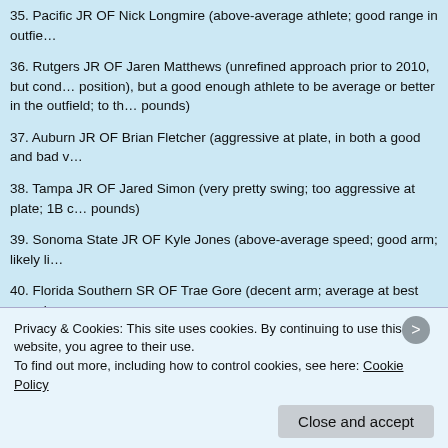35. Pacific JR OF Nick Longmire (above-average athlete; good range in outfie...
36. Rutgers JR OF Jaren Matthews (unrefined approach prior to 2010, but cond... position), but a good enough athlete to be average or better in the outfield; to th... pounds)
37. Auburn JR OF Brian Fletcher (aggressive at plate, in both a good and bad v...
38. Tampa JR OF Jared Simon (very pretty swing; too aggressive at plate; 1B c... pounds)
39. Sonoma State JR OF Kyle Jones (above-average speed; good arm; likely li...
40. Florida Southern SR OF Trae Gore (decent arm; average at best speed; go...
41. Central Florida SR OF Chris Duffy (plus hit tool; average raw power; above...
42. Bucknell SR OF Andrew Brouse (good athlete; above-average speed; good...
43. Nebraska-Omaha JR OF Ryan Hook (peak 95 FB off of mound; nice appro...
Privacy & Cookies: This site uses cookies. By continuing to use this website, you agree to their use. To find out more, including how to control cookies, see here: Cookie Policy